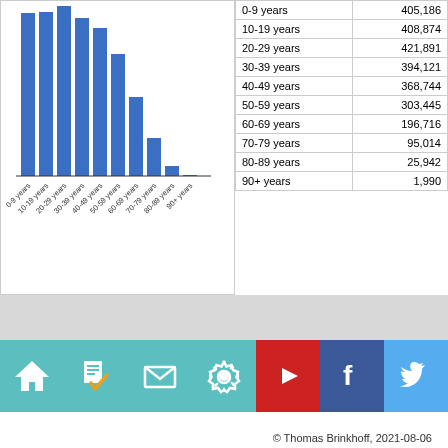[Figure (bar-chart): Population by age group]
| Age group | Population(?) |
| --- | --- |
| 0-9 years | 405,186 |
| 10-19 years | 408,874 |
| 20-29 years | 421,891 |
| 30-39 years | 394,121 |
| 40-49 years | 368,744 |
| 50-59 years | 303,445 |
| 60-69 years | 196,716 |
| 70-79 years | 95,014 |
| 80-89 years | 25,942 |
| 90+ years | 1,990 |
© Thomas Brinkhoff, 2021-08-06